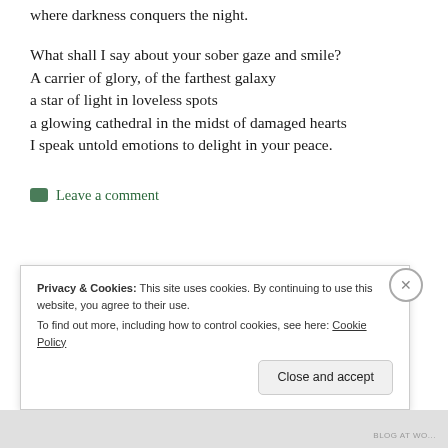where darkness conquers the night.
What shall I say about your sober gaze and smile?
A carrier of glory, of the farthest galaxy
a star of light in loveless spots
a glowing cathedral in the midst of damaged hearts
I speak untold emotions to delight in your peace.
Leave a comment
Privacy & Cookies: This site uses cookies. By continuing to use this website, you agree to their use.
To find out more, including how to control cookies, see here: Cookie Policy
Close and accept